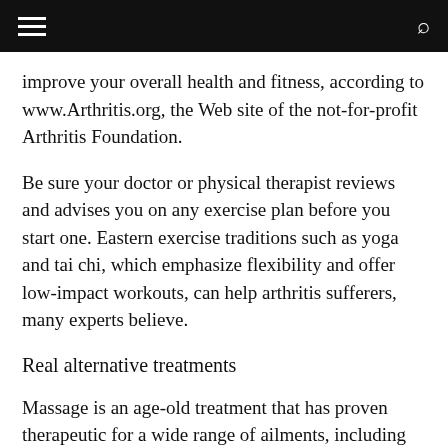Navigation bar with hamburger menu and search icon
improve your overall health and fitness, according to www.Arthritis.org, the Web site of the not-for-profit Arthritis Foundation.
Be sure your doctor or physical therapist reviews and advises you on any exercise plan before you start one. Eastern exercise traditions such as yoga and tai chi, which emphasize flexibility and offer low-impact workouts, can help arthritis sufferers, many experts believe.
Real alternative treatments
Massage is an age-old treatment that has proven therapeutic for a wide range of ailments, including